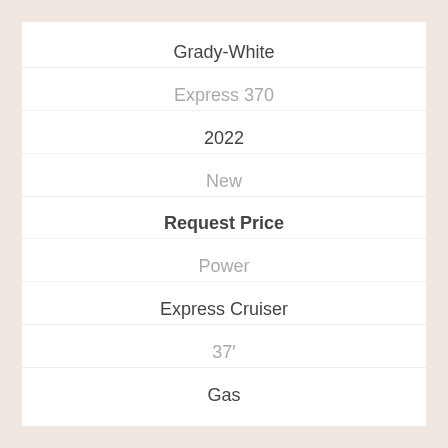Grady-White
Express 370
2022
New
Request Price
Power
Express Cruiser
37′
Gas